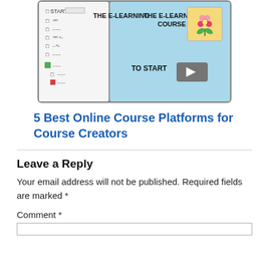[Figure (illustration): Hand-drawn illustration of an e-learning course interface with a table of contents on the left with checkboxes, and a main panel on the right showing 'THE E-LEARNING COURSE' title, a flower image, and a 'TO START' button with a play icon.]
5 Best Online Course Platforms for Course Creators
Leave a Reply
Your email address will not be published. Required fields are marked *
Comment *